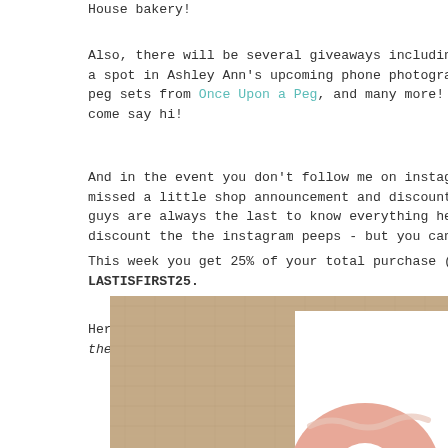House bakery!
Also, there will be several giveaways including: pri... a spot in Ashley Ann's upcoming phone photography Sn... peg sets from Once Upon a Peg, and many more! You mu... come say hi!
And in the event you don't follow me on instagram, I... missed a little shop announcement and discount. Sinc... guys are always the last to know everything here, I'... discount the the instagram peeps - but you can't tel...
This week you get 25% of your total purchase (over $... LASTISFIRST25.
Here are some of the new prints in the shop (click o... the shop page):
[Figure (photo): A framed art print displayed on a burlap/linen textured background. The frame shows a white card with a pink donut illustration partially visible.]